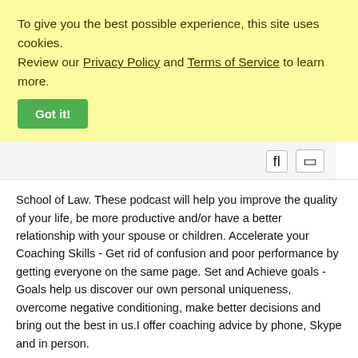To give you the best possible experience, this site uses cookies. Review our Privacy Policy and Terms of Service to learn more.
Got It!
[Figure (screenshot): Toolbar with search and filter icons (fl and rectangle icon) on the right side]
School of Law. These podcast will help you improve the quality of your life, be more productive and/or have a better relationship with your spouse or children. Accelerate your Coaching Skills - Get rid of confusion and poor performance by getting everyone on the same page. Set and Achieve goals - Goals help us discover our own personal uniqueness, overcome negative conditioning, make better decisions and bring out the best in us.I offer coaching advice by phone, Skype and in person.
[Figure (screenshot): Bottom toolbar with two square icon buttons, a Newest dropdown/sort button with list icon, and a search icon button]